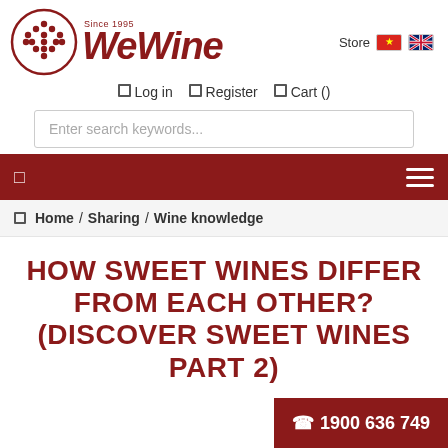[Figure (logo): WeWine logo with grape cluster circle icon and italic red text 'WeWine' with 'Since 1995' tagline]
Store
Log in   Register   Cart ()
Enter search keywords...
Home / Sharing / Wine knowledge
HOW SWEET WINES DIFFER FROM EACH OTHER? (DISCOVER SWEET WINES PART 2)
☎ 1900 636 749